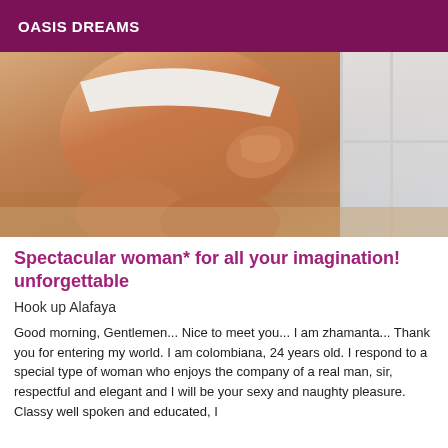OASIS DREAMS
[Figure (photo): Close-up photo of a woman's body from behind, wearing white underwear, with a window visible in the background]
Spectacular woman* for all your imagination! unforgettable
Hook up Alafaya
Good morning, Gentlemen... Nice to meet you... I am zhamanta... Thank you for entering my world. I am colombiana, 24 years old. I respond to a special type of woman who enjoys the company of a real man, sir, respectful and elegant and I will be your sexy and naughty pleasure. Classy well spoken and educated, I